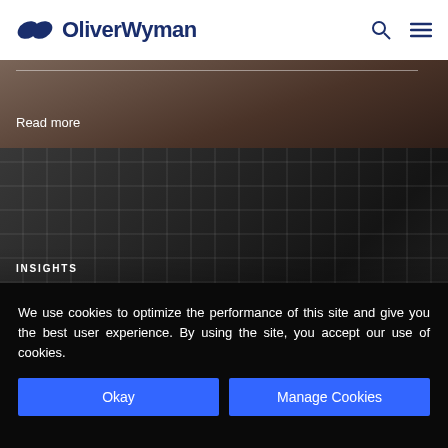OliverWyman
[Figure (photo): Partial view of a leather or fabric textured surface with a horizontal divider line and 'Read more' text overlay]
Read more
[Figure (photo): Dark grid-patterned background resembling a camera lens or industrial grid structure]
INSIGHTS
SHIFTING SANDS: US TRADE POLICY AND TARIFFS
We use cookies to optimize the performance of this site and give you the best user experience. By using the site, you accept our use of cookies.